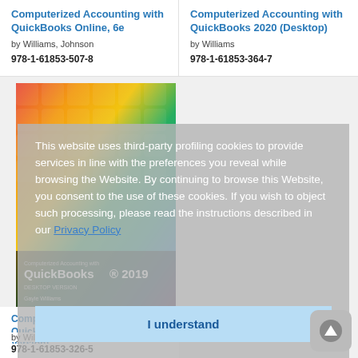Computerized Accounting with QuickBooks Online, 6e
by Williams, Johnson
978-1-61853-507-8
Computerized Accounting with QuickBooks 2020 (Desktop)
by Williams
978-1-61853-364-7
[Figure (photo): Colorful rainbow keyboard keys book cover for Computerized Accounting with QuickBooks 2019 (Desktop Version) by Gayle Williams]
Computerized Accounting with QuickBooks 2019 (Desktop Version)
by Williams
978-1-61853-326-5
This website uses third-party profiling cookies to provide services in line with the preferences you reveal while browsing the Website. By continuing to browse this Website, you consent to the use of these cookies. If you wish to object such processing, please read the instructions described in our Privacy Policy
I understand